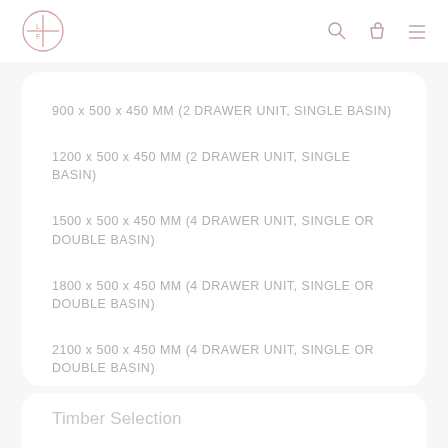LF [logo with search, bag, menu icons]
900 x 500 x 450 MM (2 DRAWER UNIT, SINGLE BASIN)
1200 x 500 x 450 MM (2 DRAWER UNIT, SINGLE BASIN)
1500 x 500 x 450 MM (4 DRAWER UNIT, SINGLE OR DOUBLE BASIN)
1800 x 500 x 450 MM (4 DRAWER UNIT, SINGLE OR DOUBLE BASIN)
2100 x 500 x 450 MM (4 DRAWER UNIT, SINGLE OR DOUBLE BASIN)
Timber Selection